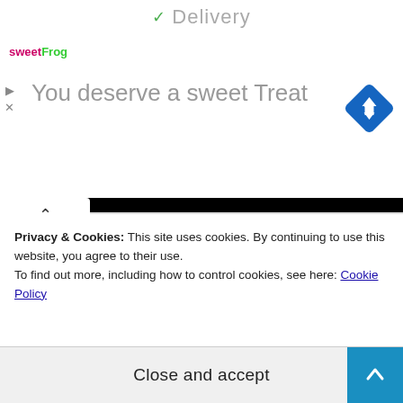✓ Delivery
[Figure (screenshot): sweetFrog ad banner: 'You deserve a sweet Treat' with blue diamond navigation icon and play/close controls]
Contact
Privacy Policy
Advertise
Support
Privacy & Cookies: This site uses cookies. By continuing to use this website, you agree to their use.
To find out more, including how to control cookies, see here: Cookie Policy
Close and accept